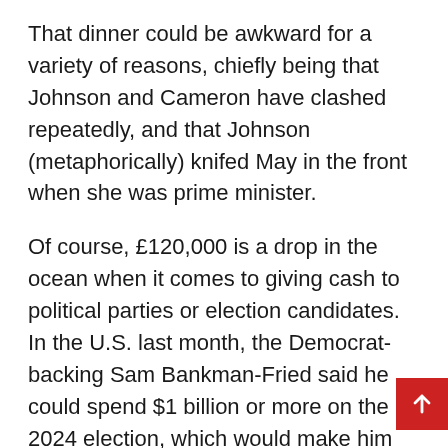That dinner could be awkward for a variety of reasons, chiefly being that Johnson and Cameron have clashed repeatedly, and that Johnson (metaphorically) knifed May in the front when she was prime minister.
Of course, £120,000 is a drop in the ocean when it comes to giving cash to political parties or election candidates. In the U.S. last month, the Democrat-backing Sam Bankman-Fried said he could spend $1 billion or more on the 2024 election, which would make him the biggest-ever political donor in a single U.S. election. Although as Bankman-Fried made his money in cryptocurrency, he might want to wait before writing any checks just in case he's worth about $1.28 by then.